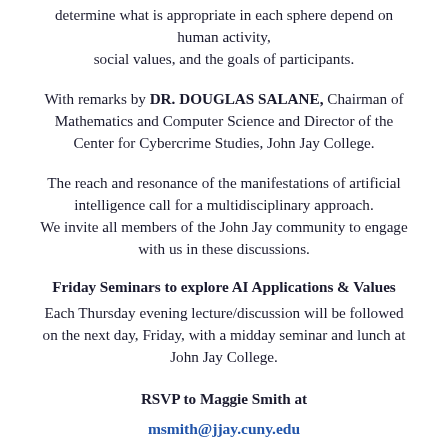determine what is appropriate in each sphere depend on human activity, social values, and the goals of participants.
With remarks by DR. DOUGLAS SALANE, Chairman of Mathematics and Computer Science and Director of the Center for Cybercrime Studies, John Jay College.
The reach and resonance of the manifestations of artificial intelligence call for a multidisciplinary approach. We invite all members of the John Jay community to engage with us in these discussions.
Friday Seminars to explore AI Applications & Values
Each Thursday evening lecture/discussion will be followed on the next day, Friday, with a midday seminar and lunch at John Jay College.
RSVP to Maggie Smith at
msmith@jjay.cuny.edu
or
mlsjic@gmail.com